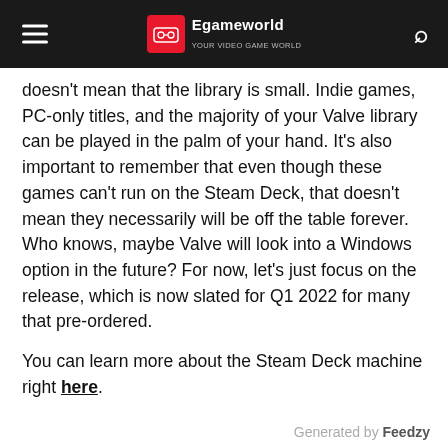Egameworld
doesn't mean that the library is small. Indie games, PC-only titles, and the majority of your Valve library can be played in the palm of your hand. It's also important to remember that even though these games can't run on the Steam Deck, that doesn't mean they necessarily will be off the table forever. Who knows, maybe Valve will look into a Windows option in the future? For now, let's just focus on the release, which is now slated for Q1 2022 for many that pre-ordered.
You can learn more about the Steam Deck machine right here.
Thoughts on the Steam Deck and what it can and cannot run? Sound off in the comment section below, even if it's just to lament the no Destiny compatibility.
Generated by Feedzy